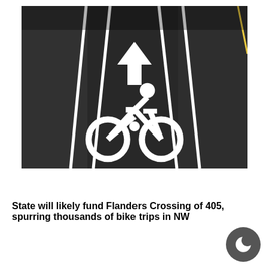[Figure (photo): Aerial view of a dark asphalt road with white painted bicycle lane markings: a white upward arrow and a white cyclist/bicycle symbol, with white lane stripe lines on either side.]
State will likely fund Flanders Crossing of 405, spurring thousands of bike trips in NW